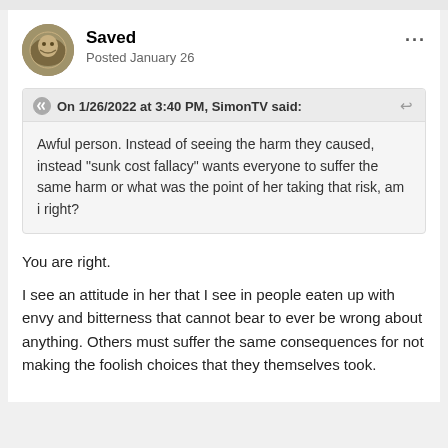Saved
Posted January 26
On 1/26/2022 at 3:40 PM, SimonTV said:
Awful person. Instead of seeing the harm they caused, instead "sunk cost fallacy" wants everyone to suffer the same harm or what was the point of her taking that risk, am i right?
You are right.
I see an attitude in her that I see in people eaten up with envy and bitterness that cannot bear to ever be wrong about anything. Others must suffer the same consequences for not making the foolish choices that they themselves took.